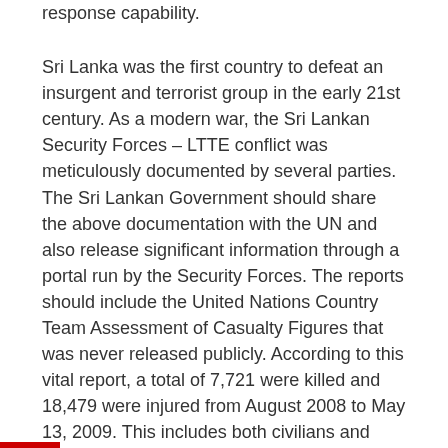response capability.
Sri Lanka was the first country to defeat an insurgent and terrorist group in the early 21st century. As a modern war, the Sri Lankan Security Forces – LTTE conflict was meticulously documented by several parties. The Sri Lankan Government should share the above documentation with the UN and also release significant information through a portal run by the Security Forces. The reports should include the United Nations Country Team Assessment of Casualty Figures that was never released publicly. According to this vital report, a total of 7,721 were killed and 18,479 were injured from August 2008 to May 13, 2009. This includes both civilians and LTTE terrorists. Furthermore, the UNICEF Supported Family Tracing and Reunification Unit issued a report that stated, as of June 2011, 2,564 tracing applications have been recorded out of which 676 are related to children